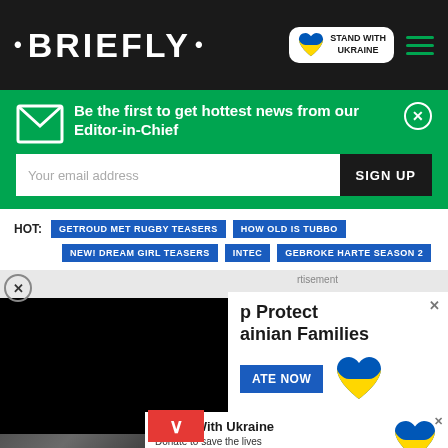• BRIEFLY •
[Figure (logo): Stand With Ukraine badge with Ukrainian flag heart icon]
Be the first to get hottest news from our Editor-in-Chief
Your email address
SIGN UP
HOT: GETROUD MET RUGBY TEASERS | HOW OLD IS TUBBO | NEW! DREAM GIRL TEASERS | INTEC | GEBROKE HARTE SEASON 2
[Figure (screenshot): Black video overlay on left side]
[Figure (infographic): Advertisement popup: Help Protect Ukrainian Families with DONATE NOW button and Ukrainian flag heart icons]
[Figure (infographic): Stand With Ukraine banner: Donate to save the lives of millions of children, with Ukrainian flag heart icon]